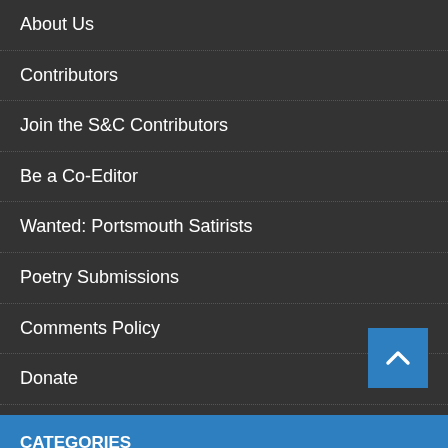About Us
Contributors
Join the S&C Contributors
Be a Co-Editor
Wanted: Portsmouth Satirists
Poetry Submissions
Comments Policy
Donate
CATEGORIES
News
Politics
Social Issues
Editorial